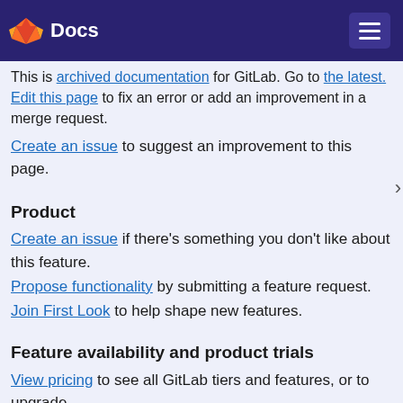Docs
This is archived documentation for GitLab. Go to the latest. Edit this page to fix an error or add an improvement in a merge request.
Create an issue to suggest an improvement to this page.
Product
Create an issue if there's something you don't like about this feature.
Propose functionality by submitting a feature request.
Join First Look to help shape new features.
Feature availability and product trials
View pricing to see all GitLab tiers and features, or to upgrade.
Try GitLab for free with access to all features for 30 days.
Get Help